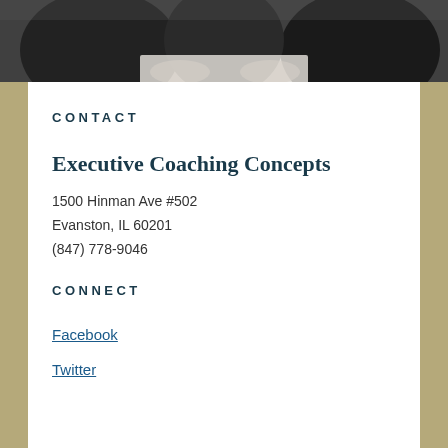[Figure (photo): Dark photo showing people in dark suits, appearing to look at documents, cropped at top of page]
CONTACT
Executive Coaching Concepts
1500 Hinman Ave #502
Evanston, IL 60201
(847) 778-9046
CONNECT
Facebook
Twitter